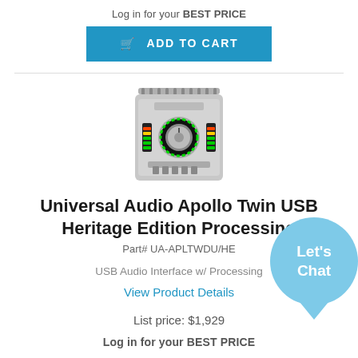Log in for your BEST PRICE
ADD TO CART
[Figure (photo): Universal Audio Apollo Twin USB audio interface device with green LED meter ring and silver body]
Universal Audio  Apollo Twin USB Heritage Edition Processing
Part# UA-APLTWDU/HE
USB Audio Interface w/ Processing
View Product Details
List price: $1,929
Log in for your BEST PRICE